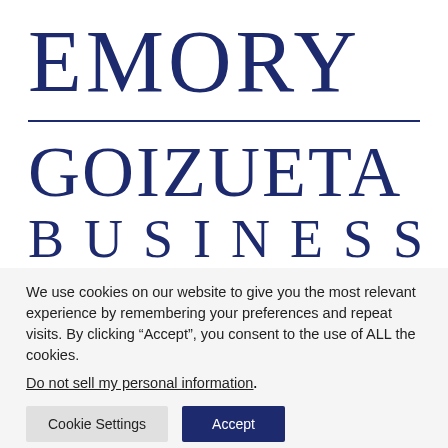[Figure (logo): Emory Goizueta Business School logo with 'EMORY' in large serif text, a horizontal rule, and 'GOIZUETA BUSINESS' below in dark navy blue.]
We use cookies on our website to give you the most relevant experience by remembering your preferences and repeat visits. By clicking “Accept”, you consent to the use of ALL the cookies.
Do not sell my personal information.
Cookie Settings
Accept